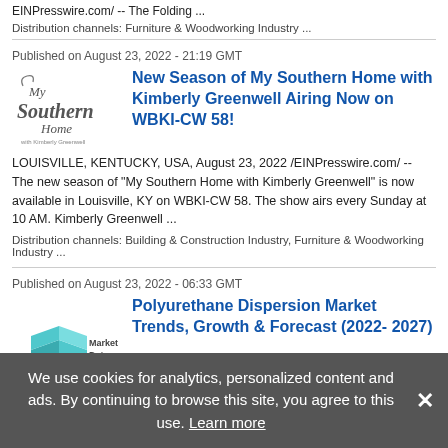EINPresswire.com/ -- The Folding ...
Distribution channels: Furniture & Woodworking Industry ...
Published on August 23, 2022 - 21:19 GMT
New Season of My Southern Home with Kimberly Greenwell Airing Now on WBKI-CW 58!
[Figure (logo): My Southern Home logo with cursive text]
LOUISVILLE, KENTUCKY, USA, August 23, 2022 /EINPresswire.com/ -- The new season of "My Southern Home with Kimberly Greenwell" is now available in Louisville, KY on WBKI-CW 58. The show airs every Sunday at 10 AM. Kimberly Greenwell ...
Distribution channels: Building & Construction Industry, Furniture & Woodworking Industry ...
Published on August 23, 2022 - 06:33 GMT
Polyurethane Dispersion Market Trends, Growth & Forecast (2022- 2027)
[Figure (logo): Market Data Forecast logo with stacked teal squares]
We use cookies for analytics, personalized content and ads. By continuing to browse this site, you agree to this use. Learn more